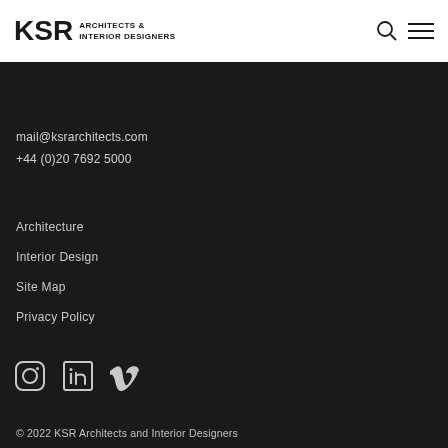[Figure (logo): KSR Architects & Interior Designers logo — bold KSR text with stacked company name]
[Figure (other): Search icon (magnifying glass) and hamburger menu icon in header]
mail@ksrarchitects.com
+44 (0)20 7692 5000
Architecture
Interior Design
Site Map
Privacy Policy
[Figure (other): Social media icons: Instagram, LinkedIn, Vimeo]
© 2022 KSR Architects and Interior Designers